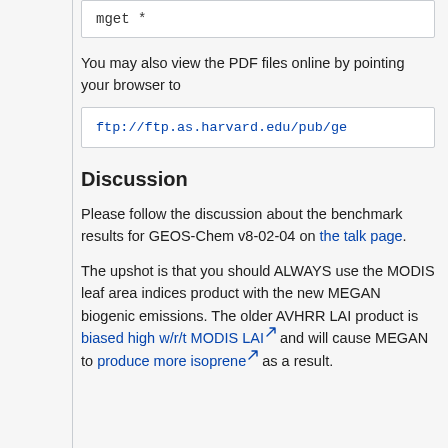mget *
You may also view the PDF files online by pointing your browser to
ftp://ftp.as.harvard.edu/pub/ge
Discussion
Please follow the discussion about the benchmark results for GEOS-Chem v8-02-04 on the talk page.
The upshot is that you should ALWAYS use the MODIS leaf area indices product with the new MEGAN biogenic emissions. The older AVHRR LAI product is biased high w/r/t MODIS LAI and will cause MEGAN to produce more isoprene as a result.